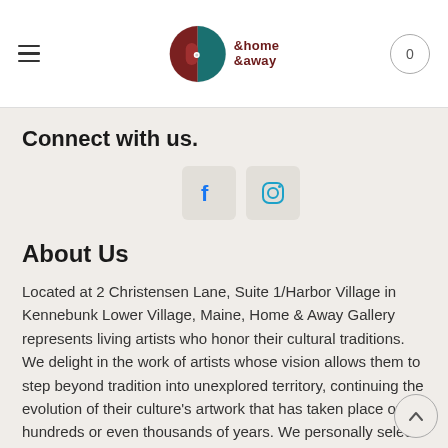[Figure (logo): Home & Away Gallery logo with circular icon (dark red and teal halves with a door knob) and text 'home & away' in dark red]
Connect with us.
[Figure (illustration): Facebook and Instagram social media icons in rounded square containers]
About Us
Located at 2 Christensen Lane, Suite 1/Harbor Village in Kennebunk Lower Village, Maine, Home & Away Gallery represents living artists who honor their cultural traditions. We delight in the work of artists whose vision allows them to step beyond tradition into unexplored territory, continuing the evolution of their culture's artwork that has taken place over hundreds or even thousands of years. We personally select all the work in our gallery and we will be happy to search for specific work to fill your needs. Above all, we value the relationships we